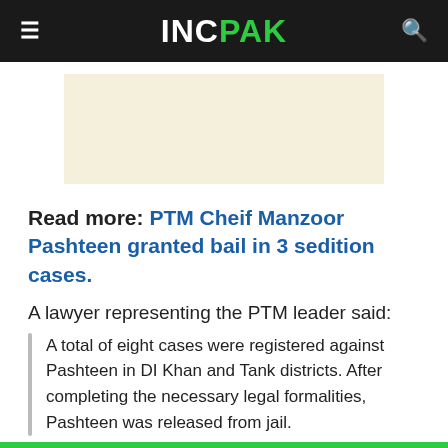INCPAK
[Figure (other): Advertisement banner placeholder (beige/cream colored rectangle)]
Read more: PTM Cheif Manzoor Pashteen granted bail in 3 sedition cases.
A lawyer representing the PTM leader said:
A total of eight cases were registered against Pashteen in DI Khan and Tank districts. After completing the necessary legal formalities, Pashteen was released from jail.
A large number of PTM workers came to